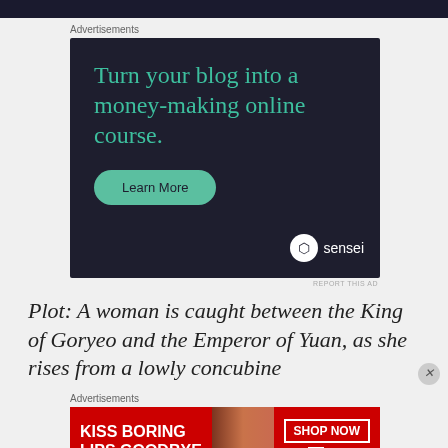[Figure (screenshot): Top black navigation bar]
Advertisements
[Figure (screenshot): Advertisement banner for Sensei: 'Turn your blog into a money-making online course.' with a 'Learn More' button and Sensei logo on dark background]
REPORT THIS AD
Plot: A woman is caught between the King of Goryeo and the Emperor of Yuan, as she rises from a lowly concubine
Advertisements
[Figure (screenshot): Advertisement for Macy's: 'KISS BORING LIPS GOODBYE' with lipstick/model photo and 'SHOP NOW' button with Macy's logo]
REPORT THIS AD